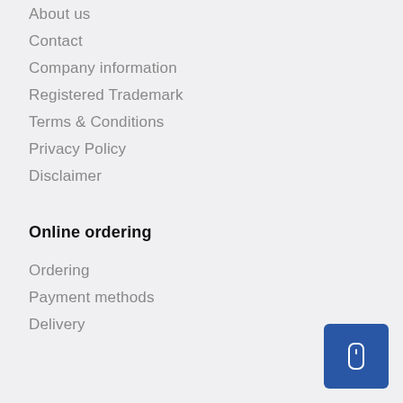About us
Contact
Company information
Registered Trademark
Terms & Conditions
Privacy Policy
Disclaimer
Online ordering
Ordering
Payment methods
Delivery